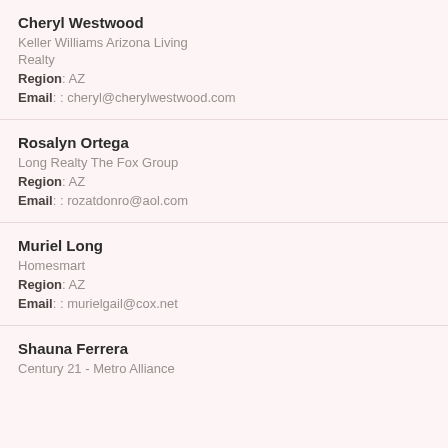Cheryl Westwood
Keller Williams Arizona Living Realty
Region: AZ
Email: : cheryl@cherylwestwood.com
Rosalyn Ortega
Long Realty The Fox Group
Region: AZ
Email: : rozatdonro@aol.com
Muriel Long
Homesmart
Region: AZ
Email: : murielgail@cox.net
Shauna Ferrera
Century 21 - Metro Alliance